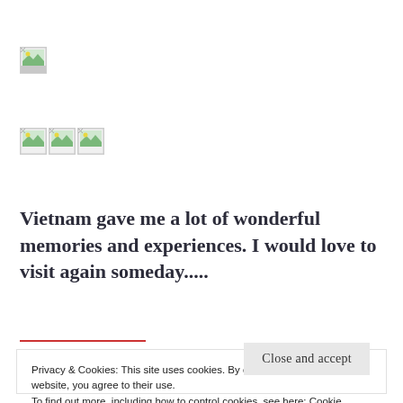[Figure (photo): Broken/placeholder image icon, single]
[Figure (photo): Three broken/placeholder image icons in a row]
Vietnam gave me a lot of wonderful memories and experiences. I would love to visit again someday.....
Privacy & Cookies: This site uses cookies. By continuing to use this website, you agree to their use.
To find out more, including how to control cookies, see here: Cookie Policy
Close and accept